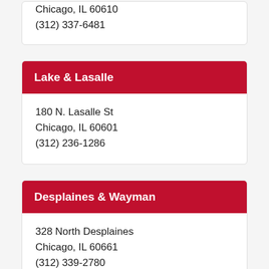Chicago, IL 60610
(312) 337-6481
Lake & Lasalle
180 N. Lasalle St
Chicago, IL 60601
(312) 236-1286
Desplaines & Wayman
328 North Desplaines
Chicago, IL 60661
(312) 339-2780